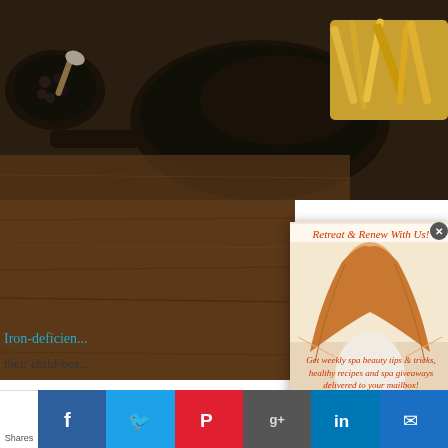[Figure (photo): Food photograph showing cast iron skillet with food items and small bowls with ingredients on wooden surface]
[Figure (photo): Popup modal overlay with woman with flowing hair arms outstretched on beach background]
Retreat & Renew With Us!
Get weekly spa beauty tips & tricks, healthy recipes and spa giveaways delivered to your mailbox!
Iron-deficien...
their child-bea...
Shares